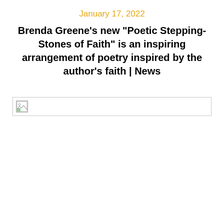January 17, 2022
Brenda Greene’s new “Poetic Stepping-Stones of Faith” is an inspiring arrangement of poetry inspired by the author’s faith | News
[Figure (photo): Broken/unloaded image placeholder shown as a wide rectangular box with a small broken image icon in the top-left corner]